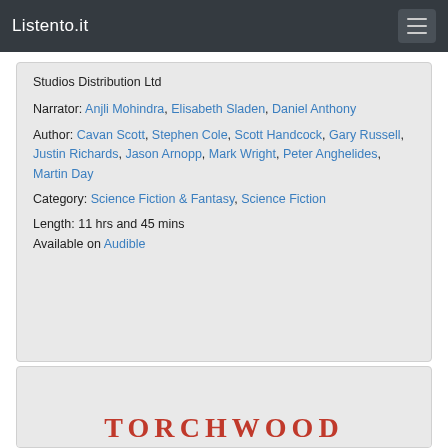Listento.it
Studios Distribution Ltd
Narrator: Anjli Mohindra, Elisabeth Sladen, Daniel Anthony
Author: Cavan Scott, Stephen Cole, Scott Handcock, Gary Russell, Justin Richards, Jason Arnopp, Mark Wright, Peter Anghelides, Martin Day
Category: Science Fiction & Fantasy, Science Fiction
Length: 11 hrs and 45 mins
Available on Audible
[Figure (illustration): Partial view of a book or audiobook cover showing the word TORCHWOOD in large red serif letters]